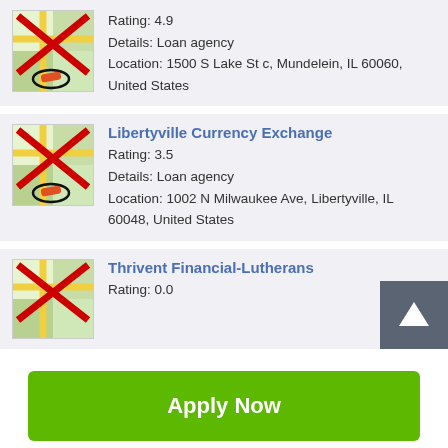Rating: 4.9
Details: Loan agency
Location: 1500 S Lake St c, Mundelein, IL 60060, United States
Libertyville Currency Exchange
Rating: 3.5
Details: Loan agency
Location: 1002 N Milwaukee Ave, Libertyville, IL 60048, United States
Thrivent Financial-Lutherans
Rating: 0.0
Apply Now
Applying does NOT affect your credit score!
No credit check to apply.